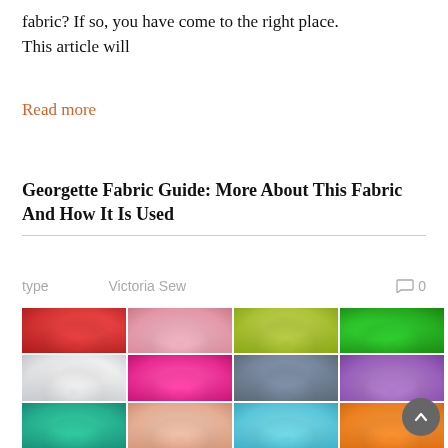fabric? If so, you have come to the right place. This article will
Read more
Georgette Fabric Guide: More About This Fabric And How It Is Used
type   Victoria Sew   0
[Figure (photo): Grid of 12 colorful draped georgette fabric swatches in red, pink, lime, green, white, hot pink, gray, purple, teal, peach, sky blue, and orange.]